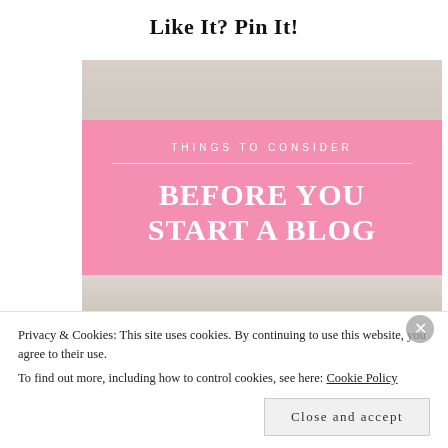Like It? Pin It!
[Figure (infographic): Blog post Pinterest image with pink overlay card on a photo of a hand holding a coffee mug on a cozy knit blanket. Pink card reads: THINGS TO CONSIDER / BEFORE YOU START A BLOG]
Privacy & Cookies: This site uses cookies. By continuing to use this website, you agree to their use.
To find out more, including how to control cookies, see here: Cookie Policy
Close and accept